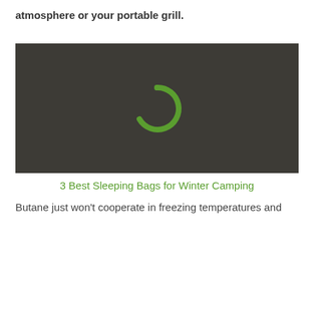atmosphere or your portable grill.
[Figure (screenshot): Dark video player placeholder with a green loading/spinner arc icon in the center on a dark grey background]
3 Best Sleeping Bags for Winter Camping
Butane just won’t cooperate in freezing temperatures and